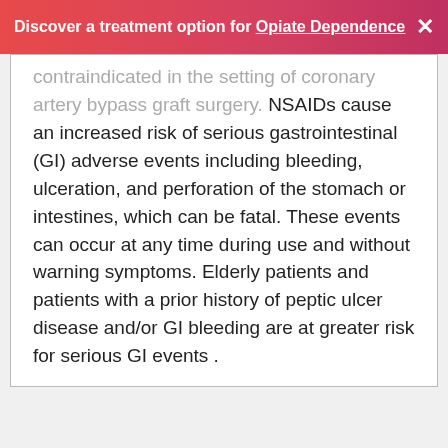Discover a treatment option for Opiate Dependence
contraindicated in the setting of coronary artery bypass graft surgery. NSAIDs cause an increased risk of serious gastrointestinal (GI) adverse events including bleeding, ulceration, and perforation of the stomach or intestines, which can be fatal. These events can occur at any time during use and without warning symptoms. Elderly patients and patients with a prior history of peptic ulcer disease and/or GI bleeding are at greater risk for serious GI events .
[Figure (other): Advertisement banner showing a person outdoors with green background, with play and close buttons]
ADVERTISEMENT
[Figure (other): Advertisement showing CM logo, address 45210 Towlern Place, Sterling, navigation icon, and In-store shopping checkmark]